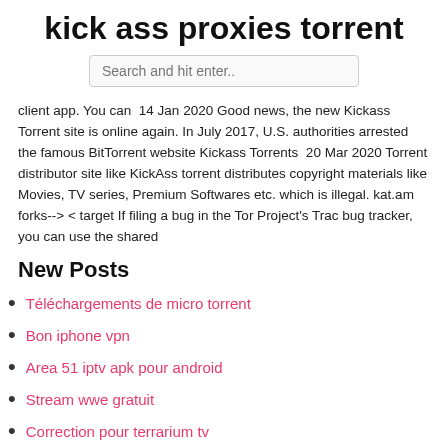kick ass proxies torrent
Search and hit enter..
client app. You can  14 Jan 2020 Good news, the new Kickass Torrent site is online again. In July 2017, U.S. authorities arrested the famous BitTorrent website Kickass Torrents  20 Mar 2020 Torrent distributor site like KickAss torrent distributes copyright materials like Movies, TV series, Premium Softwares etc. which is illegal. kat.am forks--> < target If filing a bug in the Tor Project's Trac bug tracker, you can use the shared
New Posts
Téléchargements de micro torrent
Bon iphone vpn
Area 51 iptv apk pour android
Stream wwe gratuit
Correction pour terrarium tv